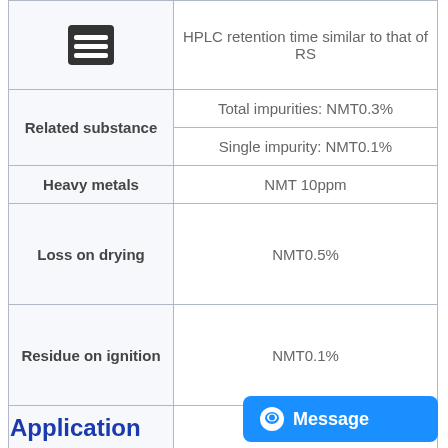| Parameter | Specification |
| --- | --- |
| Identification | HPLC retention time similar to that of RS |
| Related substance | Total impurities: NMT0.3%
Single impurity: NMT0.1% |
| Heavy metals | NMT 10ppm |
| Loss on drying | NMT0.5% |
| Residue on ignition | NMT0.1% |
| Assay | 98.5%-101.0% |
Application